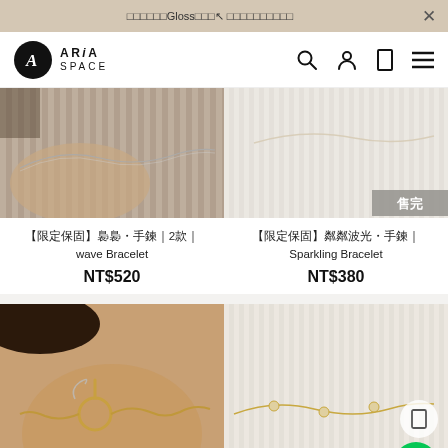□□□□□□Gloss□□□↖ □□□□□□□□□□
[Figure (screenshot): ARiA SPACE logo with circular black emblem and brand name, plus navigation icons (search, account, bookmark, menu)]
[Figure (photo): Close-up photo of a delicate chain bracelet on ribbed white surface - left product]
[Figure (photo): Close-up photo of a sparkling bracelet on white background with sold-out badge - right product]
【限定保固】裊裊・手鍊｜2款｜wave Bracelet
NT$520
【限定保固】粼粼波光・手鍊｜Sparkling Bracelet
NT$380
[Figure (photo): Photo of gold toggle-clasp chain bracelet worn on wrist, warm tones]
[Figure (photo): Photo of delicate gold chain bracelet with small crystal charms on white ribbed surface]